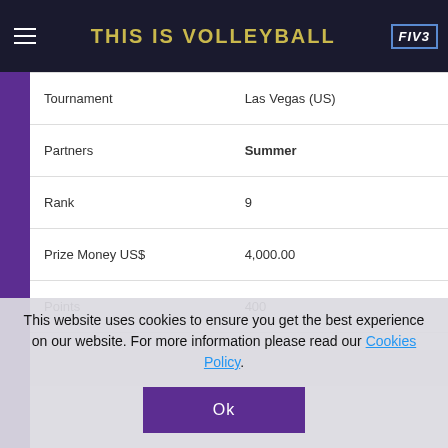THIS IS VOLLEYBALL
| Field | Value |
| --- | --- |
| Tournament | Las Vegas (US) |
| Partners | Summer |
| Rank | 9 |
| Prize Money US$ | 4,000.00 |
| Points | 400 |
This website uses cookies to ensure you get the best experience on our website. For more information please read our Cookies Policy.
Ok